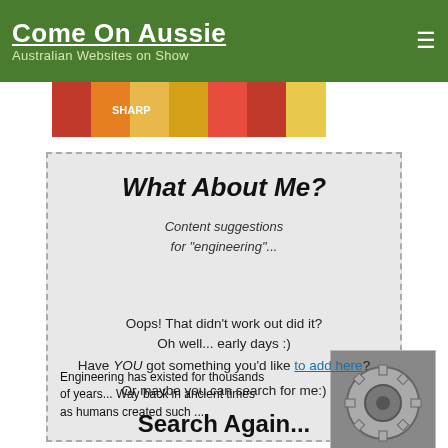Come On Aussie — Australian Websites on Show
[Figure (photo): Colorful banner image with various items]
What About Me?
Content suggestions for "engineering"...
Australian Engineering
Engineering has existed for thousands of years... Way back in ancient times as humans created such ...
[Figure (photo): Close-up photo of circular saw blade / gear teeth]
Oops! That didn't work out did it?
Oh well... early days :)
Have YOU got something you'd like to add here?
Or maybe you can search for me:)
Search Again...